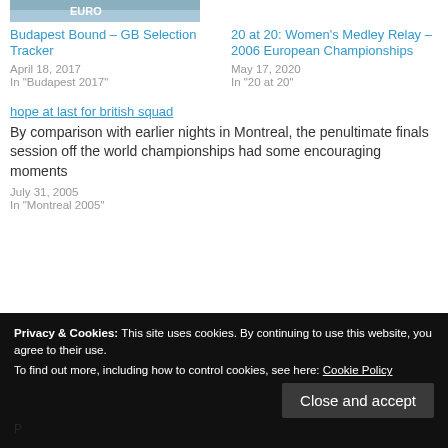[Figure (photo): Partial image at top left showing a sports/swimming event banner with text 'EURO']
Budapest Bound – GB Selection Tracker
April 18, 2017
In "Budapest 2017"
20 at 20: Women's Medley Relay – 2006 European Championships
May 17, 2020
In "20 at 20"
hope at last for british squad
By comparison with earlier nights in Montreal, the penultimate finals session off the world championships had some encouraging moments
July 31, 2005
In "Montreal 2005"
Privacy & Cookies: This site uses cookies. By continuing to use this website, you agree to their use.
To find out more, including how to control cookies, see here: Cookie Policy
Close and accept